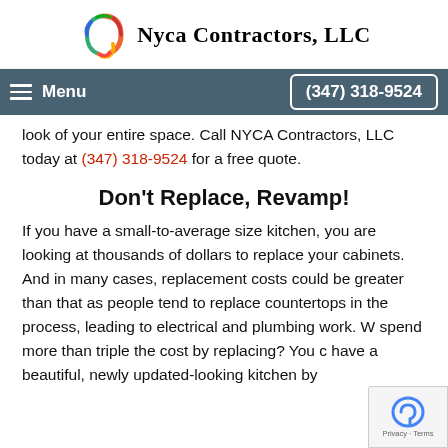Nyca Contractors, LLC
Menu  (347) 318-9524
look of your entire space. Call NYCA Contractors, LLC today at (347) 318-9524 for a free quote.
Don't Replace, Revamp!
If you have a small-to-average size kitchen, you are looking at thousands of dollars to replace your cabinets. And in many cases, replacement costs could be greater than that as people tend to replace countertops in the process, leading to electrical and plumbing work. W spend more than triple the cost by replacing? You c have a beautiful, newly updated-looking kitchen by